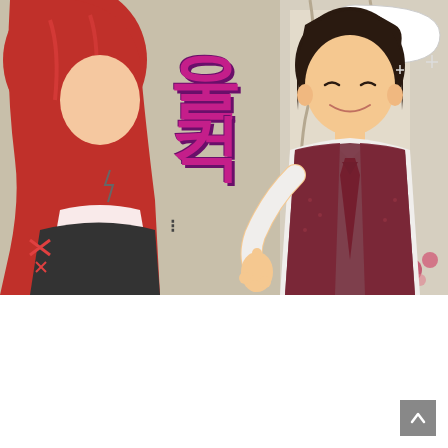[Figure (illustration): Manga/webtoon panel showing two characters: on the left a red-haired character facing away with anger marks, and on the right a dark-haired young man in a white shirt with red tie and brown patterned vest, smiling and raising a finger. Large pink/magenta Korean SFX text reads 울컥! in the middle. A speech bubble appears at the top right. Sparkle effects around the right character.]
SFX: GLOOM
SO HE JUST CAME TO SHOW OFF, DO YOU WANT TO DIE!!